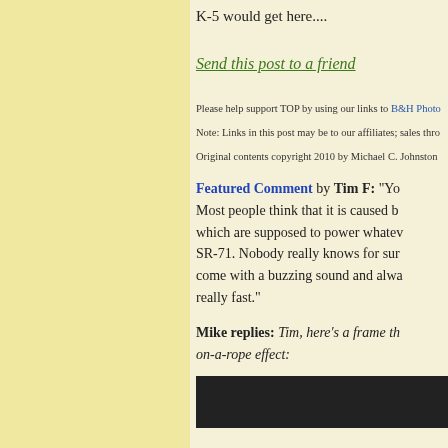K-5 would get here....
Send this post to a friend
Please help support TOP by using our links to B&H Photo
Note: Links in this post may be to our affiliates; sales thro
Original contents copyright 2010 by Michael C. Johnston
Featured Comment by Tim F: "Yo Most people think that it is caused by which are supposed to power whatev SR-71. Nobody really knows for sur come with a buzzing sound and alwa really fast."
Mike replies: Tim, here's a frame th on-a-rope effect:
[Figure (photo): Dark/black image at the bottom of the page]